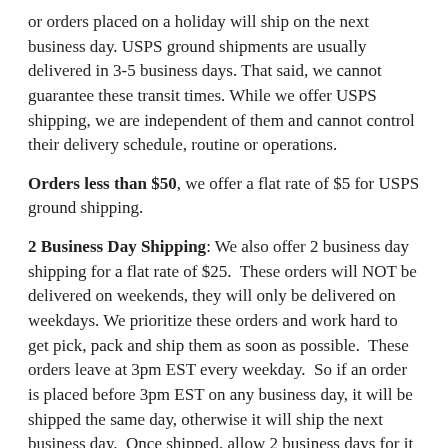or orders placed on a holiday will ship on the next business day. USPS ground shipments are usually delivered in 3-5 business days. That said, we cannot guarantee these transit times. While we offer USPS shipping, we are independent of them and cannot control their delivery schedule, routine or operations.
Orders less than $50, we offer a flat rate of $5 for USPS ground shipping.
2 Business Day Shipping: We also offer 2 business day shipping for a flat rate of $25. These orders will NOT be delivered on weekends, they will only be delivered on weekdays. We prioritize these orders and work hard to get pick, pack and ship them as soon as possible. These orders leave at 3pm EST every weekday. So if an order is placed before 3pm EST on any business day, it will be shipped the same day, otherwise it will ship the next business day. Once shipped, allow 2 business days for it to arrive.